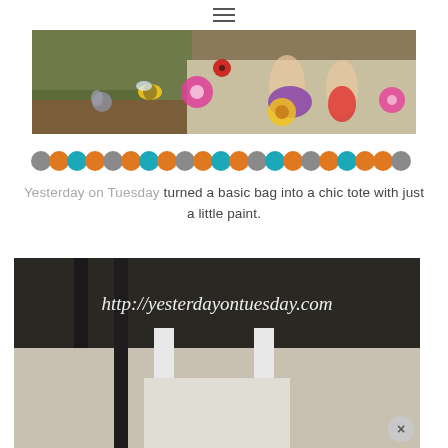≡ (hamburger menu icon)
[Figure (photo): Banner image showing a child's feet with flower stickers/decals on pavement, with decorative flower and bee clipart overlaid. Garden/outdoor background with mulch.]
[Figure (infographic): A horizontal row of colored circles/dots repeating in a pattern of gray, orange, teal, orange, gray, orange, teal, orange, gray, orange, teal, orange, gray, teal, orange, gray, orange, teal, orange, orange, gray as a decorative divider.]
Yesterday on Tuesday turned a basic bag into a chic tote with just a little paint.
[Figure (photo): A photo of a white tote bag hanging on a dark ladder/rack, partially showing. A URL watermark 'http://yesterdayontuesday.com' is displayed in white italic script over the dark upper portion of the image. Lower portion shows the light-colored tote bag.]